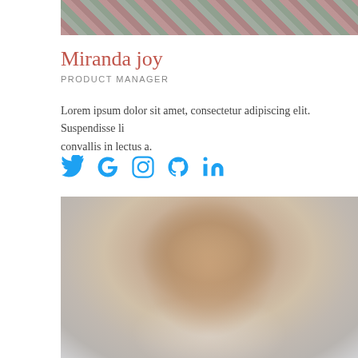[Figure (photo): Top portion of a photo showing a person in a plaid/flannel shirt, cropped at the shoulders]
Miranda joy
PRODUCT MANAGER
Lorem ipsum dolor sit amet, consectetur adipiscing elit. Suspendisse li convallis in lectus a.
[Figure (infographic): Social media icons: Twitter (bird), Google (G), Instagram (camera), GitHub (octocat), LinkedIn (in)]
[Figure (photo): Portrait photo of a young woman with curly brown hair, smiling, against a light gray background]